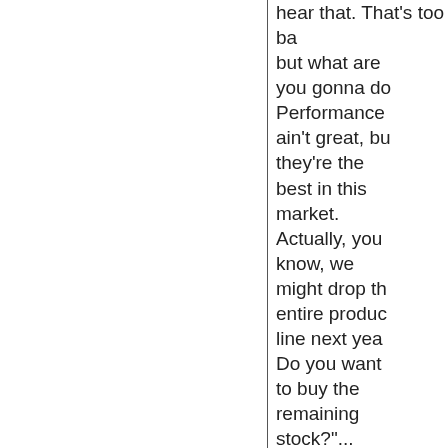hear that. That's too bad, but what are you gonna do. Performance ain't great, but they're the best in this market. Actually, you know, we might drop the entire product line next year. Do you want to buy the remaining stock?"... Meanwhile, in the development period of our product USB Flash drive prices had